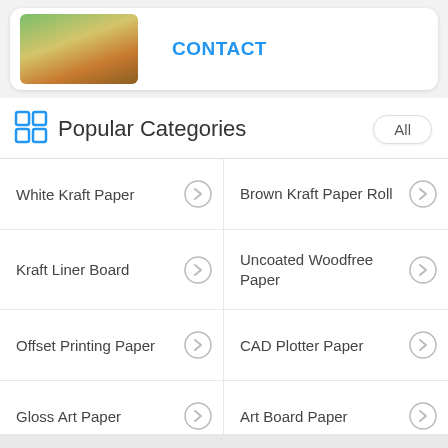[Figure (screenshot): Top card with product image (colorful paper rolls/stacks) and CONTACT link in blue]
Popular Categories
White Kraft Paper
Brown Kraft Paper Roll
Kraft Liner Board
Uncoated Woodfree Paper
Offset Printing Paper
CAD Plotter Paper
Gloss Art Paper
Art Board Paper